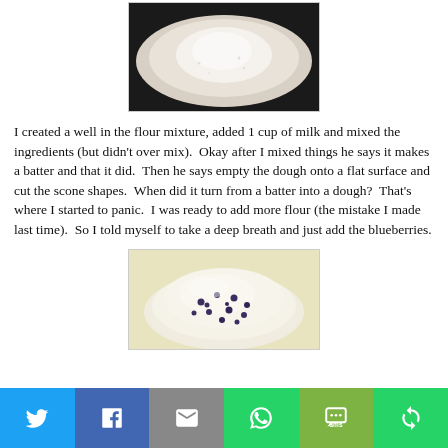[Figure (photo): Top-down view of a white bowl containing flour mixture with a well in the center]
I created a well in the flour mixture, added 1 cup of milk and mixed the ingredients (but didn't over mix).  Okay after I mixed things he says it makes a batter and that it did.  Then he says empty the dough onto a flat surface and cut the scone shapes.  When did it turn from a batter into a dough?  That's where I started to panic.  I was ready to add more flour (the mistake I made last time).  So I told myself to take a deep breath and just add the blueberries.
[Figure (photo): Close-up photo of a mound of dough with blueberries mixed in, sitting on a floured surface]
Social share bar with Twitter, Facebook, Email, WhatsApp, SMS, More buttons